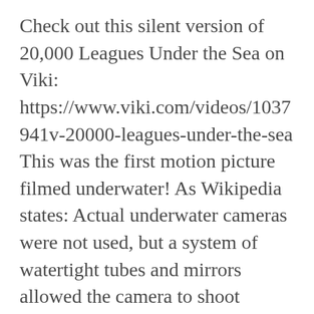Check out this silent version of 20,000 Leagues Under the Sea on Viki: https://www.viki.com/videos/1037941v-20000-leagues-under-the-sea This was the first motion picture filmed underwater! As Wikipedia states: Actual underwater cameras were not used, but a system of watertight tubes and mirrors allowed the camera to shoot reflected images of underwater scenes staged in shallow sunlit waters. (https://en.wikipedia.org/wiki/20,000_Leagues_Under_the_Sea_(1916_film)) Here ... Continue reading